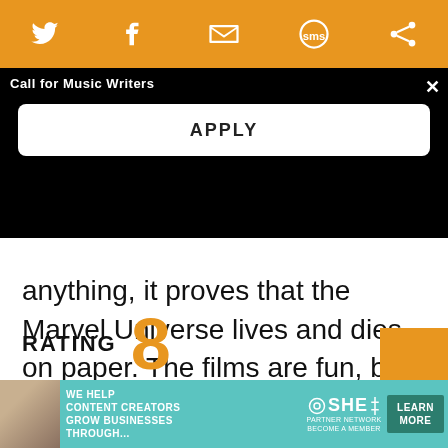Social sharing icons: Twitter, Facebook, Email, SMS, Other
Call for Music Writers
APPLY
anything, it proves that the Marvel Universe lives and dies on paper. The films are fun, but they barely scratch the surface.
RATING 8
[Figure (screenshot): Advertisement banner: SHE Media Partner Network - We help content creators grow businesses through... Learn More]
Advertisement: WE HELP CONTENT CREATORS GROW BUSINESSES THROUGH... SHE PARTNER NETWORK BECOME A MEMBER LEARN MORE